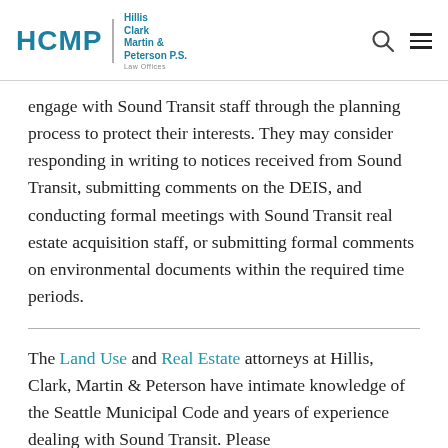HCMP | Hillis Clark Martin & Peterson P.S.
engage with Sound Transit staff through the planning process to protect their interests. They may consider responding in writing to notices received from Sound Transit, submitting comments on the DEIS, and conducting formal meetings with Sound Transit real estate acquisition staff, or submitting formal comments on environmental documents within the required time periods.
The Land Use and Real Estate attorneys at Hillis, Clark, Martin & Peterson have intimate knowledge of the Seattle Municipal Code and years of experience dealing with Sound Transit. Please